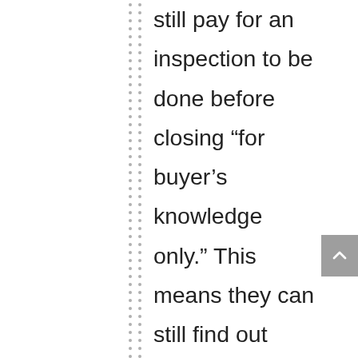still pay for an inspection to be done before closing “for buyer’s knowledge only.” This means they can still find out what they need to know about the condition of the home, but they should not be able to negotiate for repairs or credit toward improvements. This is something your agent